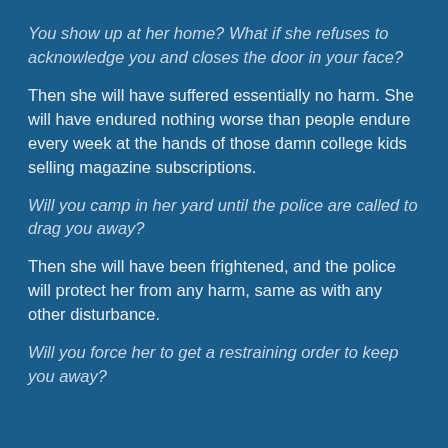You show up at her home? What if she refuses to acknowledge you and closes the door in your face?
Then she will have suffered essentially no harm. She will have endured nothing worse than people endure every week at the hands of those damn college kids selling magazine subscriptions.
Will you camp in her yard until the police are called to drag you away?
Then she will have been frightened, and the police will protect her from any harm, same as with any other disturbance.
Will you force her to get a restraining order to keep you away?